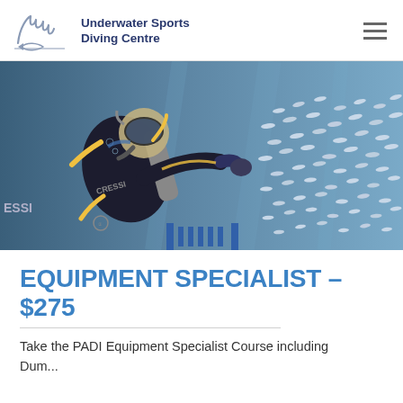Underwater Sports Diving Centre
[Figure (photo): Scuba diver in black wetsuit with yellow accents and CRESSI branding, swimming underwater surrounded by a school of small silver fish. The diver wears a full face mask and carries diving equipment including tank and regulator.]
EQUIPMENT SPECIALIST – $275
Take the PADI Equipment Specialist Course including Dum...